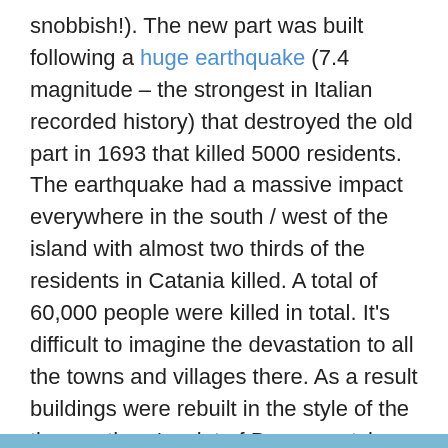snobbish!). The new part was built following a huge earthquake (7.4 magnitude – the strongest in Italian recorded history) that destroyed the old part in 1693 that killed 5000 residents.  The earthquake had a massive impact everywhere in the south / west of the island with almost two thirds of the residents in Catania killed. A total of 60,000 people were killed in total. It's difficult to imagine the devastation to all the towns and villages there. As a result buildings were rebuilt in the style of the time so there's a lot of Baroque style buildings in Ragusa. My photos are somewhat lacking in Ragusa because it was mostly torrential rain whilst we were there. We made the most of the rain though by visiting the local spa, Spatium which I thoroughly recommend if like us, you're somewhat rained in!